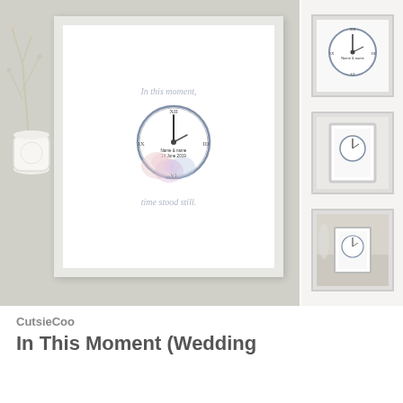[Figure (photo): Main product photo: framed decorative print showing a clock with floral watercolor decorations and script text 'In this moment, time stood still', displayed on a wooden surface with a white vase of flowers beside it.]
[Figure (photo): Thumbnail 1: close-up of the clock illustration on white background.]
[Figure (photo): Thumbnail 2: framed print leaning against a light background.]
[Figure (photo): Thumbnail 3: small framed print on wooden surface with flowers in background.]
CutsieCoo
In This Moment (Wedding